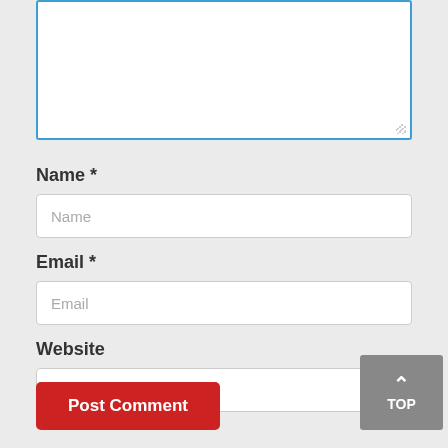[Figure (screenshot): A comment form section showing a textarea (top portion), three side buttons (blue calendar, orange touch/pointer, green WhatsApp), and form fields for Name, Email, Website, along with a Post Comment button and a TOP scroll button.]
Name *
Email *
Website
Post Comment
TOP